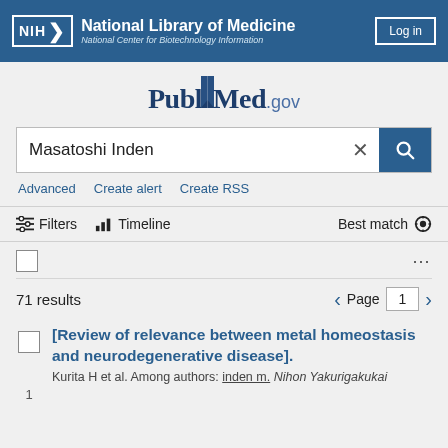NIH National Library of Medicine National Center for Biotechnology Information | Log in
[Figure (logo): PubMed.gov logo with bookmark icon]
Masatoshi Inden
Advanced   Create alert   Create RSS
Filters   Timeline   Best match
71 results   Page 1
[Review of relevance between metal homeostasis and neurodegenerative disease].
Kurita H et al. Among authors: inden m. Nihon Yakurigakukai